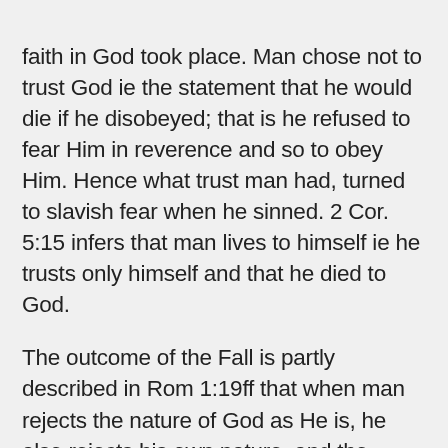faith in God took place. Man chose not to trust God ie the statement that he would die if he disobeyed; that is he refused to fear Him in reverence and so to obey Him. Hence what trust man had, turned to slavish fear when he sinned. 2 Cor. 5:15 infers that man lives to himself ie he trusts only himself and that he died to God.
The outcome of the Fall is partly described in Rom 1:19ff that when man rejects the nature of God as He is, he also rejects his own nature, and the nature of the universe. He lives in the context of fate since his world is not God's true world. God, to him is not a faithful Creator, nor a faithful